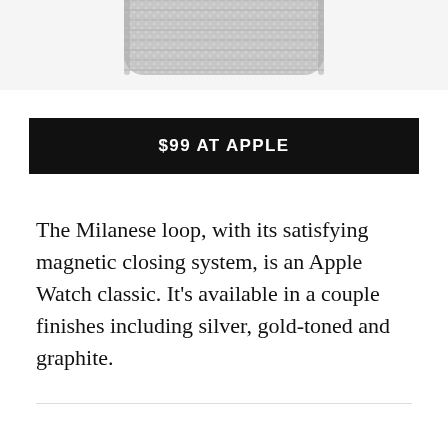[Figure (photo): Partial top view of a silver Milanese loop Apple Watch band, metallic mesh texture visible against light gray background]
$99 AT APPLE
The Milanese loop, with its satisfying magnetic closing system, is an Apple Watch classic. It's available in a couple finishes including silver, gold-toned and graphite.
ADVERTISEMENT · CONTINUE READING BELOW